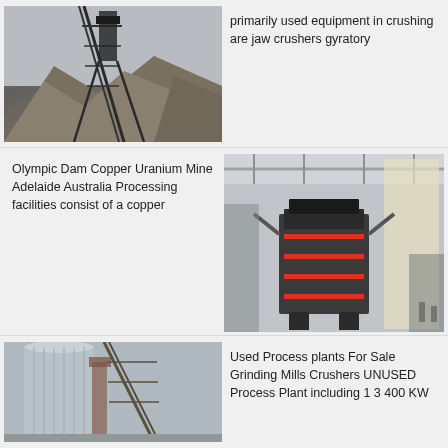[Figure (photo): Photo of a mining conveyor/crusher structure with large aggregate piles in background, overcast sky]
primarily used equipment in crushing are jaw crushers gyratory
Olympic Dam Copper Uranium Mine Adelaide Australia Processing facilities consist of a copper
[Figure (photo): Photo of a large industrial crusher or mill machine inside a processing plant facility]
[Figure (photo): Photo of a silver silo and conveyor structure at a mine processing plant]
Used Process plants For Sale Grinding Mills Crushers UNUSED Process Plant including 1 3 400 KW